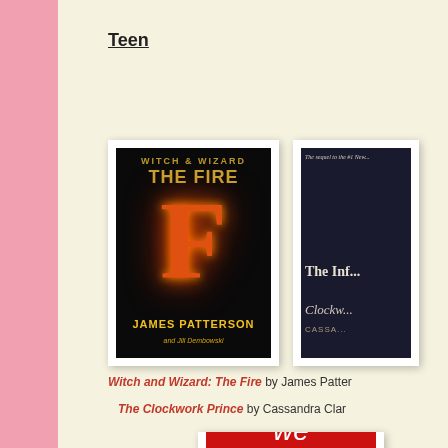Teen
[Figure (photo): Book cover of 'Witch & Wizard: The Fire' by James Patterson and Jill Dembowski — black background with large flaming letter F in orange/red, gold title text at top, yellow author name at bottom]
[Figure (photo): Partially visible book cover of 'The Clockwork Prince' by Cassandra Clare — dark atmospheric image, partially cropped on right edge]
Witch and Wizard: The Fire by James Patter...
The Clockwork Prince by Cassandra Clar...
[Figure (photo): Partially visible third book cover — red background, partially cropped at bottom of page]